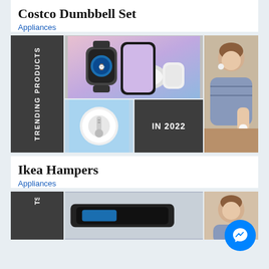Costco Dumbbell Set
Appliances
[Figure (infographic): Trending Products in 2022 collage: dark panel with 'TRENDING PRODUCTS' vertical text, smartwatch/wireless charger product photo, round wireless charger on blue background, dark panel with 'IN 2022' text, woman wearing earbuds/holding product photo]
Ikea Hampers
Appliances
[Figure (infographic): Partial trending products collage at bottom, same style as above with dark panel and product photos]